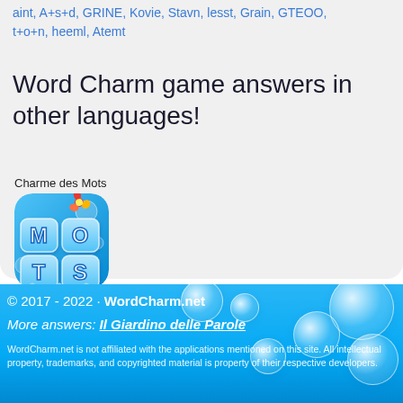aint, A+s+d, GRINE, Kovie, Stavn, lesst, Grain, GTEOO, t+o+n, heeml, Atemt
Word Charm game answers in other languages!
Charme des Mots
[Figure (illustration): Charme des Mots game icon showing letter tiles M, O, T, S on blue bubble background with tropical flower decoration]
© 2017 - 2022 · WordCharm.net
More answers: Il Giardino delle Parole
WordCharm.net is not affiliated with the applications mentioned on this site. All intellectual property, trademarks, and copyrighted material is property of their respective developers.